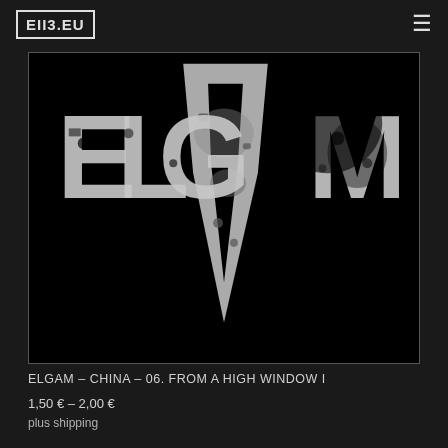EII3.EU
[Figure (illustration): Black album cover art with large distressed white text reading 'ELGVM' (ELG V M) on a black background, with a large white V shape pointing downward in the center. The letters have a grunge/distressed texture.]
ELGAM – CHINA – 06. FROM A HIGH WINDOW I
1,50 € – 2,00 €
plus shipping